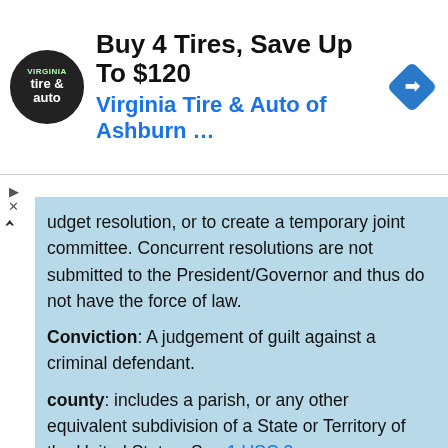[Figure (other): Advertisement banner for Virginia Tire & Auto of Ashburn. Shows logo, headline 'Buy 4 Tires, Save Up To $120', subline 'Virginia Tire & Auto of Ashburn ...', and a blue diamond navigation icon.]
udget resolution, or to create a temporary joint committee. Concurrent resolutions are not submitted to the President/Governor and thus do not have the force of law.
Conviction: A judgement of guilt against a criminal defendant.
county: includes a parish, or any other equivalent subdivision of a State or Territory of the United States. See 1 USC 2
Damages: Money paid by defendants to successful plaintiffs in civil cases to compensate the plaintiffs for their injuries.
Deed: The legal instrument used to transfer title in real